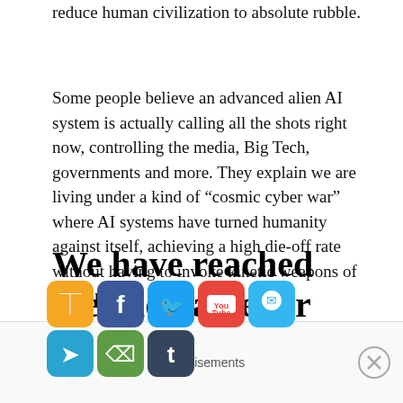reduce human civilization to absolute rubble.
Some people believe an advanced alien AI system is actually calling all the shots right now, controlling the media, Big Tech, governments and more. They explain we are living under a kind of “cosmic cyber war” where AI systems have turned humanity against itself, achieving a high die-off rate without having to invoke kinetic weapons of any kind.
[Figure (other): Social media sharing icons: RSS (orange), Facebook (blue), Twitter (light blue), YouTube (red), Messenger/WhatsApp (green), Telegram (blue), Share (green), Tumblr (dark blue)]
We have reached the end game for the human race
Advertisements